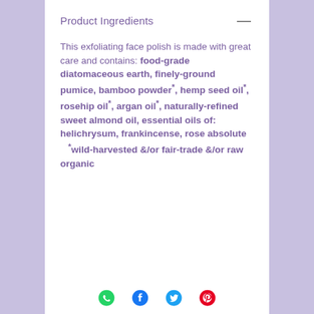Product Ingredients
This exfoliating face polish is made with great care and contains: food-grade diatomaceous earth, finely-ground pumice, bamboo powder*, hemp seed oil*, rosehip oil*, argan oil*, naturally-refined sweet almond oil, essential oils of: helichrysum, frankincense, rose absolute   *wild-harvested &/or fair-trade &/or raw organic